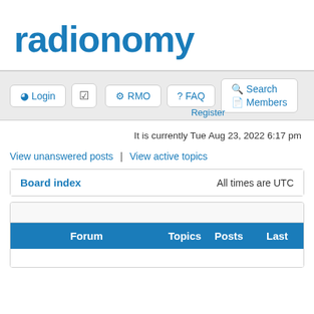radionomy
Login | Register | RMO | FAQ | Search | Members
It is currently Tue Aug 23, 2022 6:17 pm
View unanswered posts | View active topics
| Board index | All times are UTC |
| --- | --- |
| Forum | Topics | Posts | Last |
| --- | --- | --- | --- |